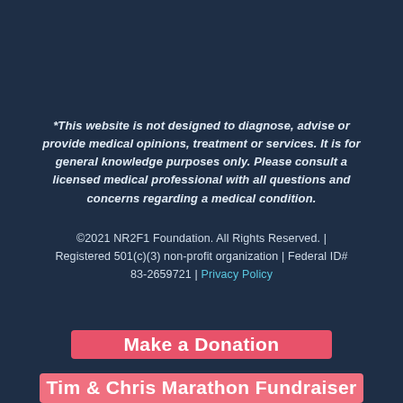*This website is not designed to diagnose, advise or provide medical opinions, treatment or services. It is for general knowledge purposes only. Please consult a licensed medical professional with all questions and concerns regarding a medical condition.
©2021 NR2F1 Foundation. All Rights Reserved. | Registered 501(c)(3) non-profit organization | Federal ID# 83-2659721 | Privacy Policy
Make a Donation
Tim & Chris Marathon Fundraiser